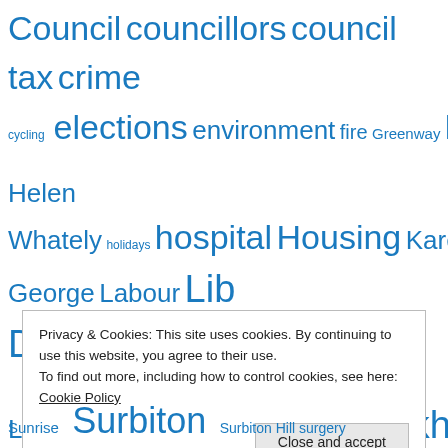[Figure (other): Tag cloud with clickable topic links in blue, varying font sizes indicating frequency/importance. Tags include: Council, councillors, council tax, crime, cycling, elections, environment, fire, Greenway, health, Helen Whately, holidays, hospital, Housing, Karen George, Labour, Lib Dems, Libraries, Livingstone, Lovelace, Mayor, Meetings, Oakhill, Olympics, parking, petition, planning, Police, Raven's Ait, recession, recycling, referendum, Residents Associations, roads, Sunrise, Surbiton, and more.]
Privacy & Cookies: This site uses cookies. By continuing to use this website, you agree to their use.
To find out more, including how to control cookies, see here: Cookie Policy
Close and accept
Sunrise  Surbiton  Surbiton Hill surgery